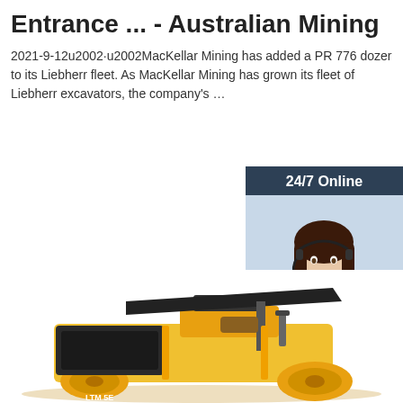Entrance ... - Australian Mining
2021-9-12u2002·u2002MacKellar Mining has added a PR 776 dozer to its Liebherr fleet. As MacKellar Mining has grown its fleet of Liebherr excavators, the company's …
[Figure (other): Orange 'Get Price' button]
[Figure (other): Chat widget with '24/7 Online' header, female agent photo with headset, 'Click here for free chat!' text, and orange QUOTATION button]
[Figure (photo): Yellow road roller / compactor machine (LTM model) photographed from the side]